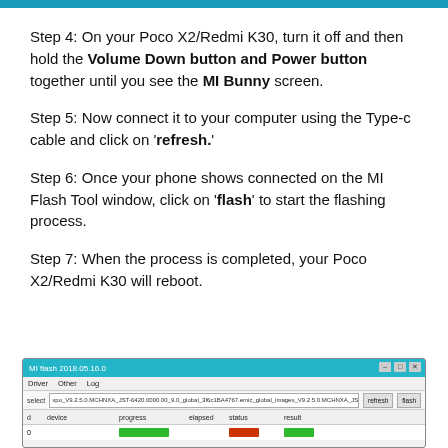[Figure (screenshot): Top blue/teal bar at top of page]
Step 4: On your Poco X2/Redmi K30, turn it off and then hold the Volume Down button and Power button together until you see the MI Bunny screen.
Step 5: Now connect it to your computer using the Type-c cable and click on 'refresh.'
Step 6: Once your phone shows connected on the MI Flash Tool window, click on 'flash' to start the flashing process.
Step 7: When the process is completed, your Poco X2/Redmi K30 will reboot.
[Figure (screenshot): MI Flash Tool window screenshot showing the flash tool interface with toolbar, select path, refresh and flash buttons, and a device table with progress, elapsed, status, and result columns]